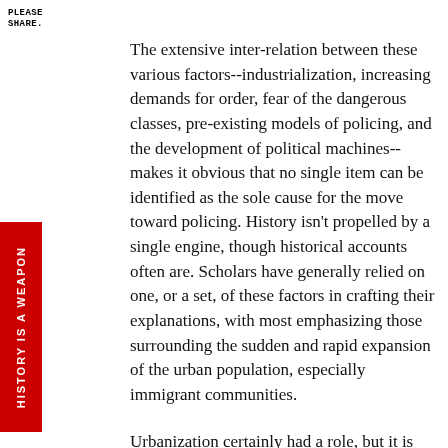PLEASE
SHARE.
The extensive inter-relation between these various factors--industrialization, increasing demands for order, fear of the dangerous classes, pre-existing models of policing, and the development of political machines--makes it obvious that no single item can be identified as the sole cause for the move toward policing. History isn't propelled by a single engine, though historical accounts often are. Scholars have generally relied on one, or a set, of these factors in crafting their explanations, with most emphasizing those surrounding the sudden and rapid expansion of the urban population, especially immigrant communities.
Urbanization certainly had a role, but it is not the role it is usually assumed to have had. Rather than producing widespread criminality, cities actually promoted widespread civility; as the population rose, the rate of serious
[Figure (other): Red vertical banner on left side reading 'HISTORY IS A WEAPON' in white bold uppercase rotated text]